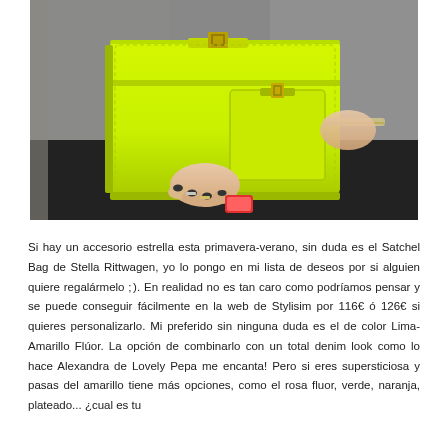[Figure (photo): A person holding a neon yellow-green Satchel Bag (Stella Rittwagen style) against a dark outfit. The bag is a structured leather satchel with buckle closures. The person is wearing a grey sweater and dark skirt, with visible rings and a bracelet.]
Si hay un accesorio estrella esta primavera-verano, sin duda es el Satchel Bag de Stella Rittwagen, yo lo pongo en mi lista de deseos por si alguien quiere regalármelo ; ). En realidad no es tan caro como podríamos pensar y se puede conseguir fácilmente en la web de Stylisim por 116€ ó 126€ si quieres personalizarlo. Mi preferido sin ninguna duda es el de color Lima-Amarillo Flúor. La opción de combinarlo con un total denim look como lo hace Alexandra de Lovely Pepa me encanta! Pero si eres supersticiosa y pasas del amarillo tiene más opciones, como el rosa fluor, verde, naranja, plateado... ¿cual es tu